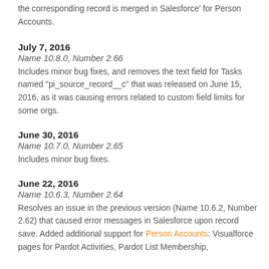the corresponding record is merged in Salesforce' for Person Accounts.
July 7, 2016
Name 10.8.0, Number 2.66
Includes minor bug fixes, and removes the text field for Tasks named "pi_source_record__c" that was released on June 15, 2016, as it was causing errors related to custom field limits for some orgs.
June 30, 2016
Name 10.7.0, Number 2.65
Includes minor bug fixes.
June 22, 2016
Name 10.6.3, Number 2.64
Resolves an issue in the previous version (Name 10.6.2, Number 2.62) that caused error messages in Salesforce upon record save. Added additional support for Person Accounts: Visualforce pages for Pardot Activities, Pardot List Membership,